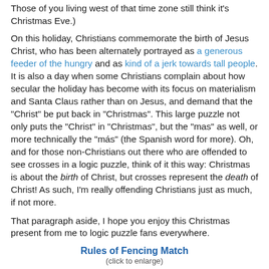Those of you living west of that time zone still think it's Christmas Eve.)
On this holiday, Christians commemorate the birth of Jesus Christ, who has been alternately portrayed as a generous feeder of the hungry and as kind of a jerk towards tall people. It is also a day when some Christians complain about how secular the holiday has become with its focus on materialism and Santa Claus rather than on Jesus, and demand that the "Christ" be put back in "Christmas". This large puzzle not only puts the "Christ" in "Christmas", but the "mas" as well, or more technically the "más" (the Spanish word for more). Oh, and for those non-Christians out there who are offended to see crosses in a logic puzzle, think of it this way: Christmas is about the birth of Christ, but crosses represent the death of Christ! As such, I'm really offending Christians just as much, if not more.
That paragraph aside, I hope you enjoy this Christmas present from me to logic puzzle fans everywhere.
Rules of Fencing Match
(click to enlarge)